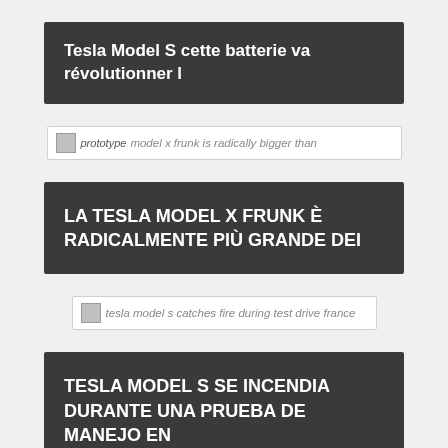Tesla Model S cette batterie va révolutionner l
prototype | model x frunk is radically bigger than
LA TESLA MODEL X FRUNK È RADICALMENTE PIÙ GRANDE DEI
tesla model s catches fire during test drive france
TESLA MODEL S SE INCENDIA DURANTE UNA PRUEBA DE MANEJO EN
parla on | model y vs ford mustang mach e specs
A TESLA MODEL Y VS A FORD